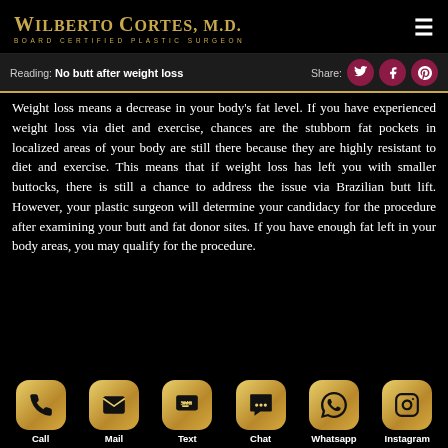WILBERTO CORTES, M.D. BOARD CERTIFIED PLASTIC SURGEON
Reading: No butt after weight loss  Share:
Weight loss means a decrease in your body's fat level. If you have experienced weight loss via diet and exercise, chances are the stubborn fat pockets in localized areas of your body are still there because they are highly resistant to diet and exercise. This means that if weight loss has left you with smaller buttocks, there is still a chance to address the issue via Brazilian butt lift. However, your plastic surgeon will determine your candidacy for the procedure after examining your butt and fat donor sites. If you have enough fat left in your body areas, you may qualify for the procedure.
Call  Mail  Text  Chat  Whatsapp  Instagram